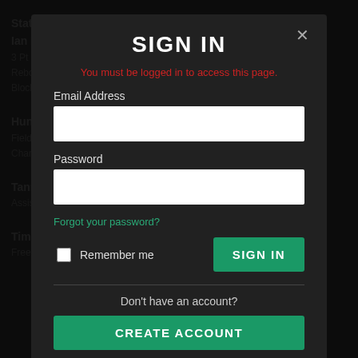Statistical Awards went to:
Ian Fahj... 3 Pt Field...
Rebounds Leader – 179 Rebounds, 6.4 rpg
Block Le...
Hunter Williams
Field Goal % Leader – 60.0% (105-175)
Charges taken leader...
Tanner Tollerud
Assist Leader – 111 Assists, 4.1 apg
Timmy Guler
Free Throw % Leader – 77.4% (103-140)
SIGN IN
You must be logged in to access this page.
Email Address
Password
Forgot your password?
Remember me
SIGN IN
Don't have an account?
CREATE ACCOUNT